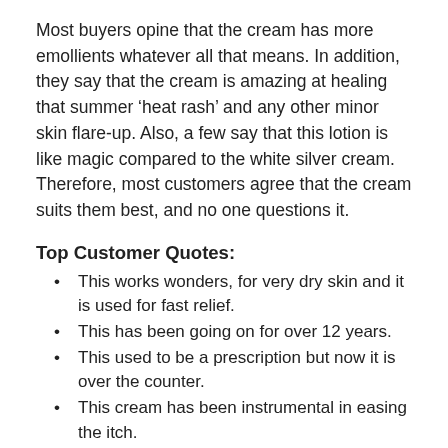Most buyers opine that the cream has more emollients whatever all that means. In addition, they say that the cream is amazing at healing that summer ‘heat rash’ and any other minor skin flare-up. Also, a few say that this lotion is like magic compared to the white silver cream. Therefore, most customers agree that the cream suits them best, and no one questions it.
Top Customer Quotes:
This works wonders, for very dry skin and it is used for fast relief.
This has been going on for over 12 years.
This used to be a prescription but now it is over the counter.
This cream has been instrumental in easing the itch.